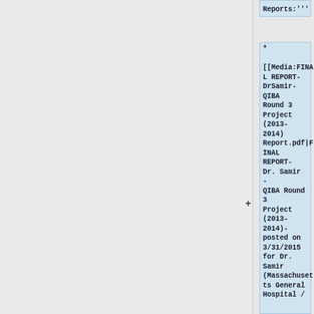Reports:'''
* [[Media:FINAL REPORT-DrSamir-QIBA Round 3 Project (2013-2014) Report.pdf|FINAL REPORT- Dr. Samir - QIBA Round 3 Project (2013-2014)- posted on 3/31/2015 for Dr. Samir (Massachusetts General Hospital /